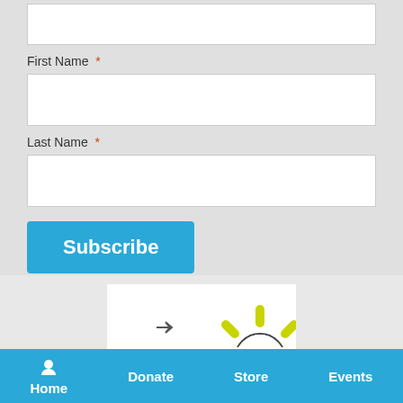First Name *
Last Name *
Subscribe
Find us on Facebook
[Figure (logo): Sunshine logo with yellow rays, partially visible at bottom of page]
Home  Donate  Store  Events